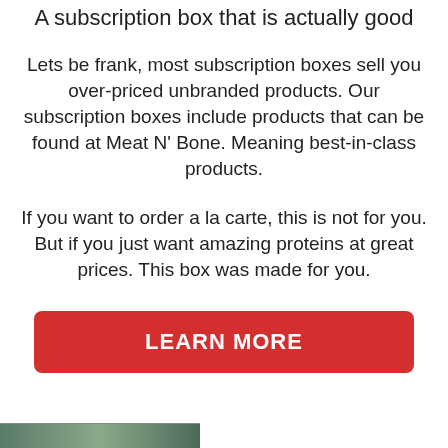A subscription box that is actually good
Lets be frank, most subscription boxes sell you over-priced unbranded products. Our subscription boxes include products that can be found at Meat N' Bone. Meaning best-in-class products.
If you want to order a la carte, this is not for you. But if you just want amazing proteins at great prices. This box was made for you.
[Figure (other): Red button labeled LEARN MORE]
[Figure (photo): Partial image at bottom left of page, appears to be a food/meat photo]